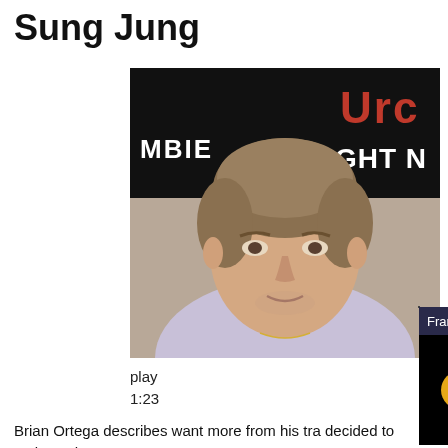Sung Jung
[Figure (photo): Brian Ortega at a UFC/Fight Night press conference, seated in front of signage reading 'MBIE' and 'UFC FIGHT NIGHT', wearing a light-colored jacket]
play
1:23
[Figure (screenshot): Video popup overlay with dark background, title bar reading 'Francis Ngannou's coach grades Ciryl G...' with an X close button, muted icon (orange circle with speaker/mute symbol), and a small blue diagonal bar at the bottom right]
Brian Ortega describes want more from his tra decided to make a chan
Okamoto: Real, which i